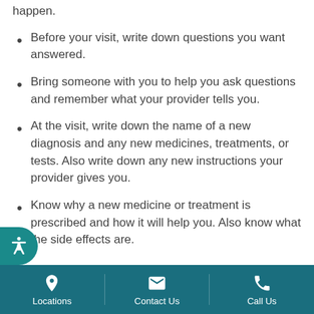happen.
Before your visit, write down questions you want answered.
Bring someone with you to help you ask questions and remember what your provider tells you.
At the visit, write down the name of a new diagnosis and any new medicines, treatments, or tests. Also write down any new instructions your provider gives you.
Know why a new medicine or treatment is prescribed and how it will help you. Also know what the side effects are.
Locations   Contact Us   Call Us